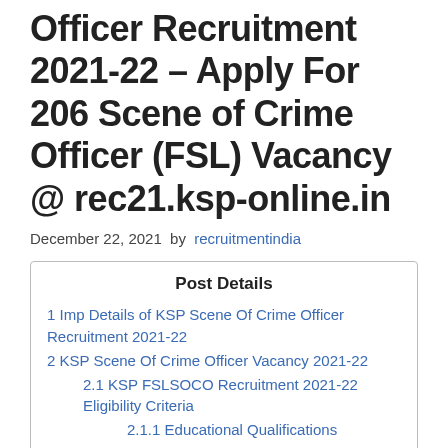Officer Recruitment 2021-22 – Apply For 206 Scene of Crime Officer (FSL) Vacancy @ rec21.ksp-online.in
December 22, 2021 by recruitmentindia
| Post Details |
| --- |
| 1 Imp Details of KSP Scene Of Crime Officer Recruitment 2021-22 |
| 2 KSP Scene Of Crime Officer Vacancy 2021-22 |
| 2.1 KSP FSLSOCO Recruitment 2021-22 Eligibility Criteria |
| 2.1.1 Educational Qualifications |